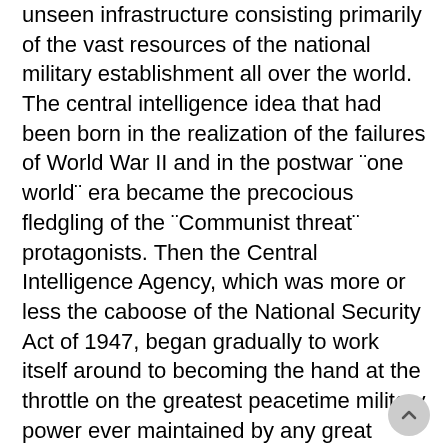unseen infrastructure consisting primarily of the vast resources of the national military establishment all over the world. The central intelligence idea that had been born in the realization of the failures of World War II and in the postwar ¨one world¨ era became the precocious fledgling of the ¨Communist threat¨ protagonists. Then the Central Intelligence Agency, which was more or less the caboose of the National Security Act of 1947, began gradually to work itself around to becoming the hand at the throttle on the greatest peacetime military power ever maintained by any great nation…. A military force that had been emasculated and reduced to one of response, ever on the defensive, and therefore ready for manipulation and control by an action groups such as the ST.